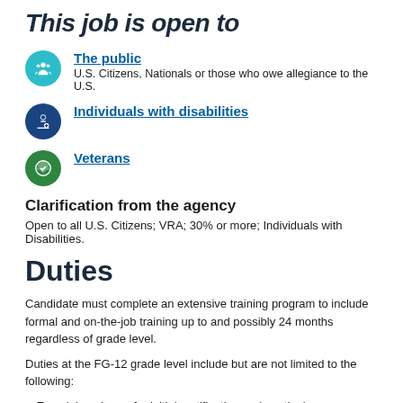This job is open to
The public — U.S. Citizens, Nationals or those who owe allegiance to the U.S.
Individuals with disabilities
Veterans
Clarification from the agency
Open to all U.S. Citizens; VRA; 30% or more; Individuals with Disabilities.
Duties
Candidate must complete an extensive training program to include formal and on-the-job training up to and possibly 24 months regardless of grade level.
Duties at the FG-12 grade level include but are not limited to the following:
Examining airmen for initial certification and continuing competence;